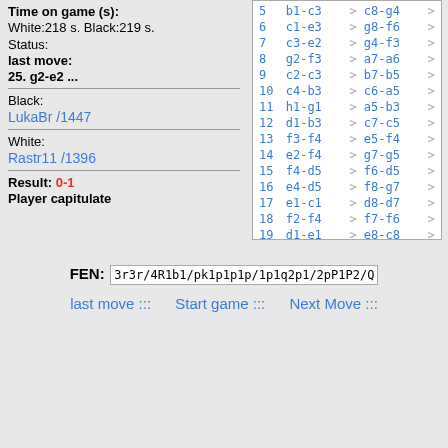Time on game (s):
White:218 s. Black:219 s.
Status:
last move:
25. g2-e2 ...
Black:
LukaBr /1447
White:
Rastr11 /1396
Result: 0-1
Player capitulate
| # | White | > | Black | > |
| --- | --- | --- | --- | --- |
| 5 | b1-c3 | > | c8-g4 | > |
| 6 | c1-e3 | > | g8-f6 | > |
| 7 | c3-e2 | > | g4-f3 | > |
| 8 | g2-f3 | > | a7-a6 | > |
| 9 | c2-c3 | > | b7-b5 | > |
| 10 | c4-b3 | > | c6-a5 | > |
| 11 | h1-g1 | > | a5-b3 | > |
| 12 | d1-b3 | > | c7-c5 | > |
| 13 | f3-f4 | > | e5-f4 | > |
| 14 | e2-f4 | > | g7-g5 | > |
| 15 | f4-d5 | > | f6-d5 | > |
| 16 | e4-d5 | > | f8-g7 | > |
| 17 | e1-c1 | > | d8-d7 | > |
| 18 | f2-f4 | > | f7-f6 | > |
| 19 | d1-e1 | > | e8-c8 | > |
| 20 | d3-d4 | > | c5-c4 | > |
| 21 | b3-a3 | > | c8-b7 | > |
| 22 | g1-g2 | > | d7-f5 | > |
| 23 | e3-g1 | > | f5-d5 | > |
FEN: 3r3r/4R1b1/pk1p1p1p/1p1q2p1/2pP1P2/Q1P5/PP2R2P...
last move :::    Start game :::    Next Move :::